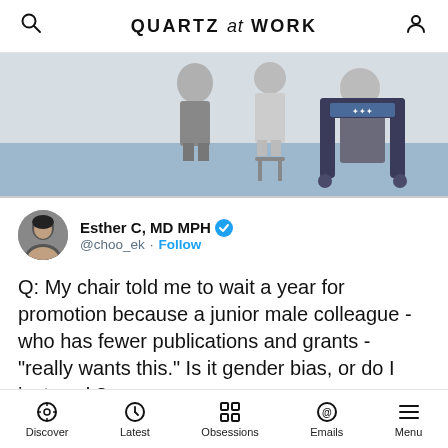QUARTZ at WORK
[Figure (illustration): Partial view of an illustration showing figures in old-fashioned clothing, one seated in an ornate chair and another standing near a stool, with a blue floor background.]
Esther C, MD MPH @choo_ek · Follow
Q: My chair told me to wait a year for promotion because a junior male colleague - who has fewer publications and grants - "really wants this." Is it gender bias, or do I just suck?
Discover  Latest  Obsessions  Emails  Menu